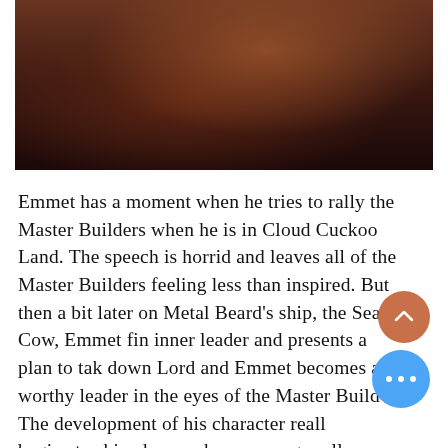[Figure (photo): Dark cinematic screenshot showing a character in dim reddish-brown tones, appears to be from an animated film.]
Emmet has a moment when he tries to rally the Master Builders when he is in Cloud Cuckoo Land. The speech is horrid and leaves all of the Master Builders feeling less than inspired. But then a bit later on Metal Beard's ship, the Sea Cow, Emmet fin inner leader and presents a plan to tak down Lord and Emmet becomes a worthy leader in the eyes of the Master Build The development of his character reall begins to shine here as he encourages all